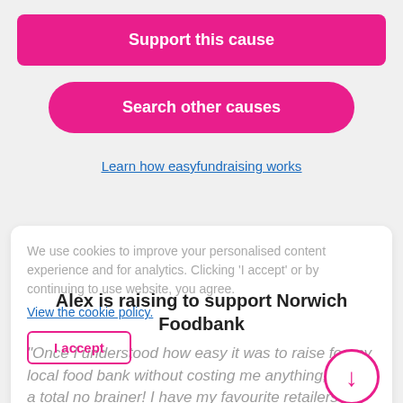Support this cause
Search other causes
Learn how easyfundraising works
We use cookies to improve your personalised content experience and for analytics. Clicking 'I accept' or by continuing to use website, you agree.
View the cookie policy.
Alex is raising to support Norwich Foodbank
"Once I understood how easy it was to raise for my local food bank without costing me anything, it was a total no brainer! I have my favourite retailers in the
I accept